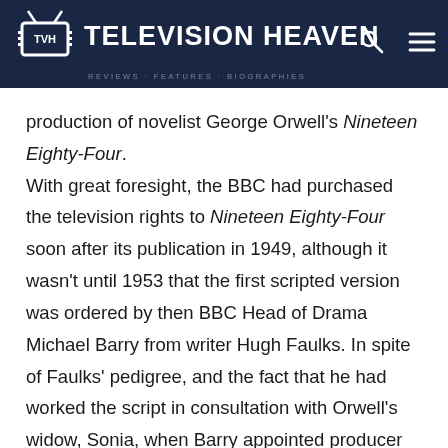TELEVISION HEAVEN
production of novelist George Orwell's Nineteen Eighty-Four.

With great foresight, the BBC had purchased the television rights to Nineteen Eighty-Four soon after its publication in 1949, although it wasn't until 1953 that the first scripted version was ordered by then BBC Head of Drama Michael Barry from writer Hugh Faulks. In spite of Faulks' pedigree, and the fact that he had worked the script in consultation with Orwell's widow, Sonia, when Barry appointed producer Rudolph Cartier to oversee the project it was Cartier's choice to turn to 'Quatermass' creator Nigel Kneale for the finished version. Whether or